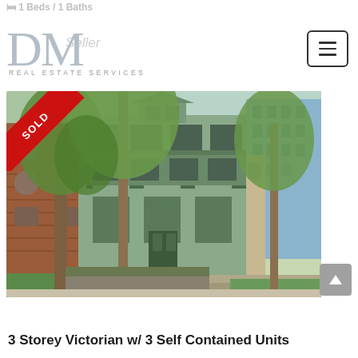1 Beds / 1 Baths
[Figure (logo): DM Real Estate Services logo — large serif DM letters in grey with REAL ESTATE SERVICES in small caps below]
[Figure (photo): Exterior photo of a 3-storey Victorian house with teal/green facade, arched windows, surrounded by large trees, flanked by red brick building on left and modern glass building on right. Red SOLD ribbon banner in top-left corner of photo.]
3 Storey Victorian w/ 3 Self Contained Units